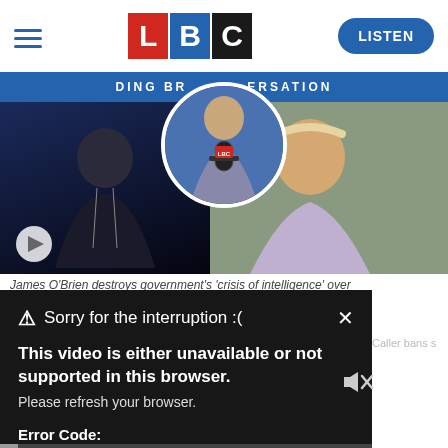[Figure (screenshot): LBC radio website header with hamburger menu, LBC logo (red L, blue B, black C), and blue LISTEN button]
[Figure (photo): LBC website banner showing Jacob Rees-Mogg on the left, a radio presenter with LBC microphone in a circle in the center, and Boris Johnson on the right. Blue strip at top reads 'DING BR...ERSATION'. Play button visible bottom left.]
James O'Brien destroys government's 'crisis of intelligence' over
Sorry for the interruption :(
This video is either unavailable or not supported in this browser. Please refresh your browser.
Error Code: MEDIA ERR SRC NOT SUPPORTED
Caller bans s